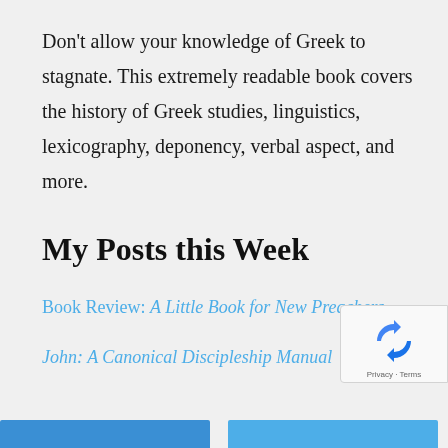Don't allow your knowledge of Greek to stagnate. This extremely readable book covers the history of Greek studies, linguistics, lexicography, deponency, verbal aspect, and more.
My Posts this Week
Book Review: A Little Book for New Preachers
John: A Canonical Discipleship Manual